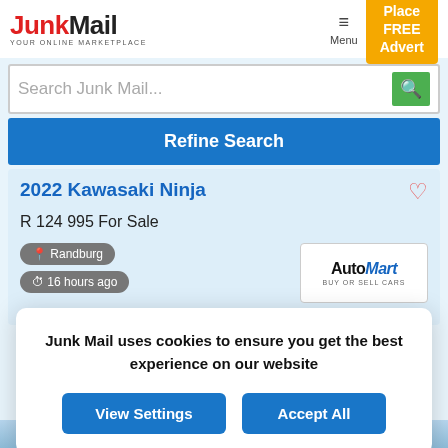JunkMail YOUR ONLINE MARKETPLACE
Search Junk Mail...
Refine Search
2022 Kawasaki Ninja
R 124 995 For Sale
Randburg
16 hours ago
[Figure (logo): AutoMart BUY OR SELL CARS logo]
Junk Mail uses cookies to ensure you get the best experience on our website
View Settings
Accept All